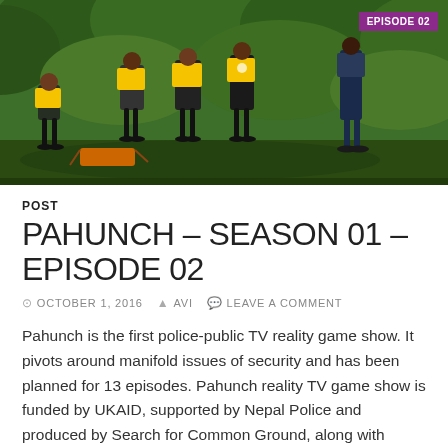[Figure (photo): Outdoor photo showing people in yellow vests examining objects on the ground in a forested area, with a police officer standing nearby. An 'EPISODE 02' badge is overlaid in the top-right corner on a purple background.]
POST
PAHUNCH – SEASON 01 – EPISODE 02
© OCTOBER 1, 2016   ▲ AVI   💬 LEAVE A COMMENT
Pahunch is the first police-public TV reality game show. It pivots around manifold issues of security and has been planned for 13 episodes. Pahunch reality TV game show is funded by UKAID, supported by Nepal Police and produced by Search for Common Ground, along with production partner Mila Productions.